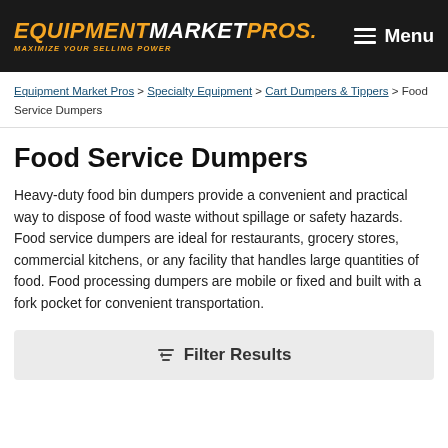EQUIPMENTMARKETPROS. MAXIMIZE YOUR SELLING POWER | Menu
Equipment Market Pros > Specialty Equipment > Cart Dumpers & Tippers > Food Service Dumpers
Food Service Dumpers
Heavy-duty food bin dumpers provide a convenient and practical way to dispose of food waste without spillage or safety hazards. Food service dumpers are ideal for restaurants, grocery stores, commercial kitchens, or any facility that handles large quantities of food. Food processing dumpers are mobile or fixed and built with a fork pocket for convenient transportation.
Filter Results